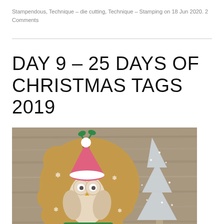Stampendous, Technique – die cutting, Technique – Stamping on 18 Jun 2020. 2 Comments
DAY 9 – 25 DAYS OF CHRISTMAS TAGS 2019
[Figure (photo): A Christmas gift tag featuring a stamped owl wearing a pink Santa hat, on a tan/kraft colored scalloped tag shape decorated with white snowflakes. The tag has a green ribbon at the top and a green banner reading WISHES at the bottom. In the background is a rustic wood surface and a glittery silver Christmas tree.]